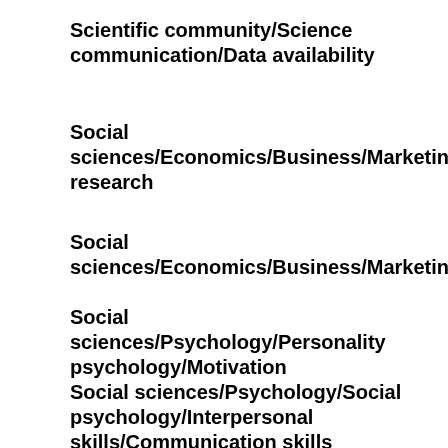Scientific community/Science communication/Data availability
Social sciences/Economics/Business/Marketing/Market research
Social sciences/Economics/Business/Marketing/Adve
Social sciences/Psychology/Personality psychology/Motivation
Social sciences/Psychology/Social psychology/Interpersonal skills/Communication skills